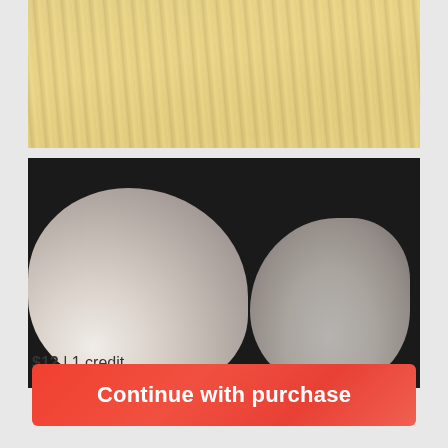[Figure (photo): Close-up photo of enoki mushrooms with thin white stems and small caps on beige/yellow background]
[Figure (photo): Close-up photo of white button mushrooms on a dark/black background with an Unsplash promotional banner overlay reading: Unsplash Welcome to iStock: Save 20% with code UNSPLASH20]
$12 | 1 credit
Continue with purchase